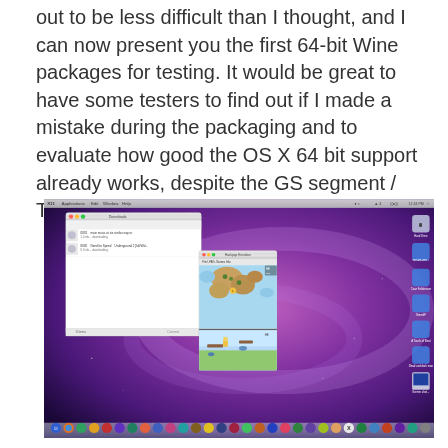out to be less difficult than I thought, and I can now present you the first 64-bit Wine packages for testing. It would be great to have some testers to find out if I made a mistake during the packaging and to evaluate how good the OS X 64 bit support already works, despite the GS segment / TEB problem.
[Figure (screenshot): Screenshot of a Mac OS X desktop (Snow Leopard style with purple/pink cosmic background) showing two windows: a file list window on the left and a Hackpop Emulator game window in the center. The Mac dock is visible at the bottom. Desktop icons are on the right side.]